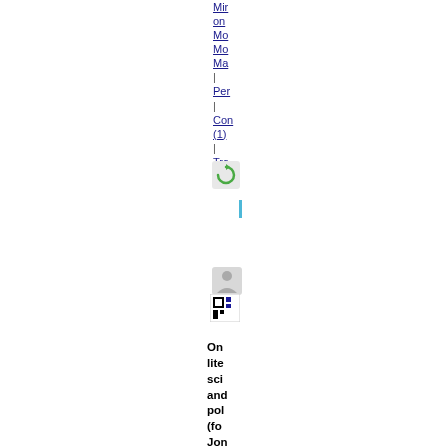Mir on Mo Mo Ma
Per
Con (1)
Tra (0)
[Figure (screenshot): Refresh icon (circular green arrow)]
[Figure (screenshot): Blue vertical cursor/caret indicator]
[Figure (screenshot): Person/profile icon (grey)]
[Figure (screenshot): Small icon with blue and black squares]
On lite sci and pol (for Jon Co